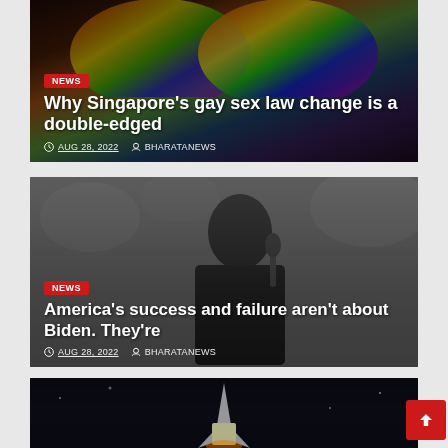[Figure (photo): News card 1: rainbow-colored sunglasses photo background with NEWS badge, headline and metadata overlay]
Why Singapore's gay sex law change is a double-edged
AUG 28, 2022  BHARATANEWS
[Figure (photo): News card 2: Black and white photo of Martin Luther King Jr. speaking at microphone, with NEWS badge, headline and metadata overlay]
America's success and failure aren't about Biden. They're
AUG 28, 2022  BHARATANEWS
[Figure (photo): News card 3: Dark background with partial rocket/spacecraft image, partially visible]